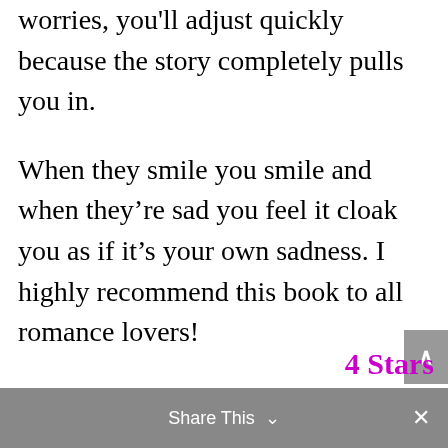worries, you'll adjust quickly because the story completely pulls you in.
When they smile you smile and when they’re sad you feel it cloak you as if it’s your own sadness. I highly recommend this book to all romance lovers!
4 Stars for
Share This ∨   ×